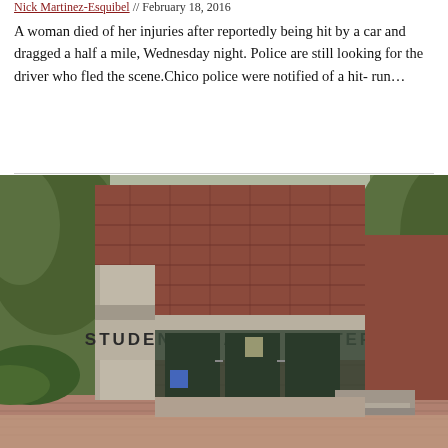Nick Martinez-Esquibel // February 18, 2016
A woman died of her injuries after reportedly being hit by a car and dragged a half a mile, Wednesday night. Police are still looking for the driver who fled the scene.Chico police were notified of a hit-run...
[Figure (photo): Exterior photo of a Student Health Center building with brick facade, glass entrance doors, and a concrete sign reading STUDENT HEALTH CENTER. Trees are visible on both sides.]